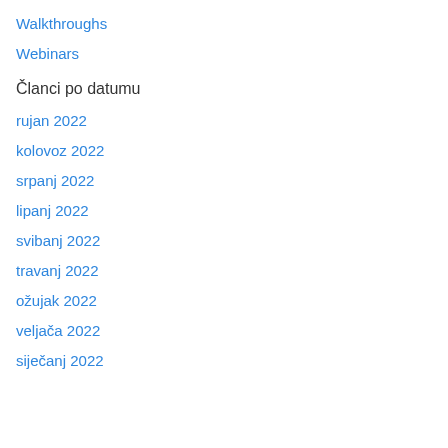Walkthroughs
Webinars
Članci po datumu
rujan 2022
kolovoz 2022
srpanj 2022
lipanj 2022
svibanj 2022
travanj 2022
ožujak 2022
veljača 2022
siječanj 2022